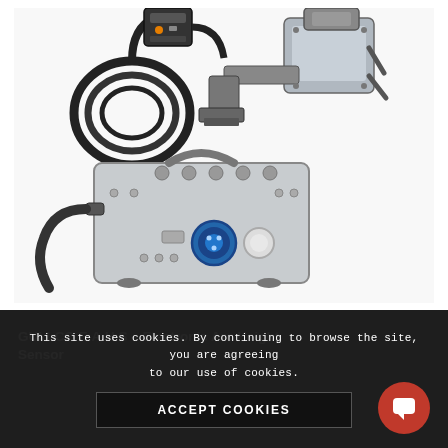[Figure (photo): Industrial welding/cutting equipment: a control pendant with cable coil (upper left), a motorized carriage or track drive unit (upper right), and a gray metal enclosure/power unit with connectors and a blue circular connector port (lower center). All components appear to be part of the GULLCO E.A.H.S. Electronic Arc Height Sensor system.]
This site uses cookies. By continuing to browse the site, you are agreeing to our use of cookies.
ACCEPT COOKIES
GULLCO E.A.H.S – Electronic Arc Height Sensor